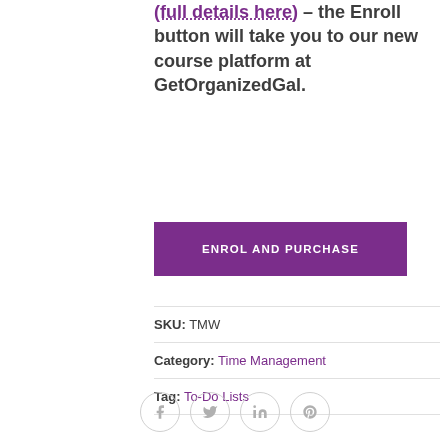(full details here) – the Enroll button will take you to our new course platform at GetOrganizedGal.
ENROL AND PURCHASE
SKU: TMW
Category: Time Management
Tag: To-Do Lists
[Figure (illustration): Four circular social media icons for Facebook, Twitter, LinkedIn, and Pinterest, outlined in light grey]